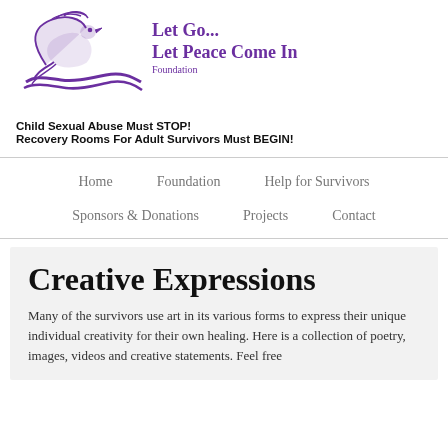[Figure (logo): Purple dove/bird logo with flowing ribbon for 'Let Go... Let Peace Come In Foundation']
Child Sexual Abuse Must STOP!
Recovery Rooms For Adult Survivors Must BEGIN!
Home   Foundation   Help for Survivors   Sponsors & Donations   Projects   Contact
Creative Expressions
Many of the survivors use art in its various forms to express their unique individual creativity for their own healing. Here is a collection of poetry, images, videos and creative statements. Feel free